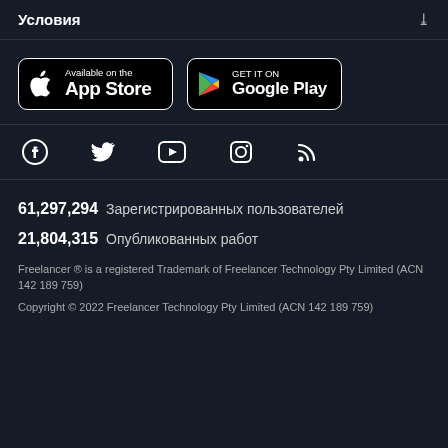Условия
[Figure (screenshot): App Store and Google Play download buttons]
[Figure (infographic): Social media icons: Facebook, Twitter, YouTube, Instagram, RSS]
61,297,294  Зарегистрированных пользователей
21,804,315  Опубликованных работ
Freelancer ® is a registered Trademark of Freelancer Technology Pty Limited (ACN 142 189 759)
Copyright © 2022 Freelancer Technology Pty Limited (ACN 142 189 759)